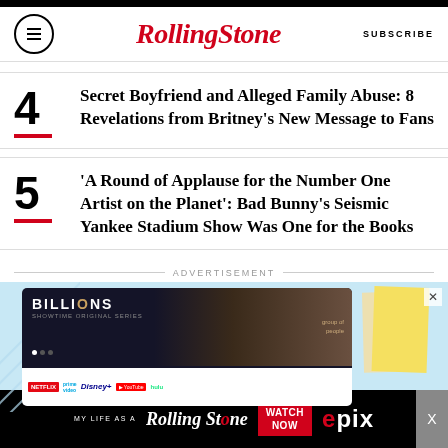RollingStone | SUBSCRIBE
4 Secret Boyfriend and Alleged Family Abuse: 8 Revelations from Britney's New Message to Fans
5 'A Round of Applause for the Number One Artist on the Planet': Bad Bunny's Seismic Yankee Stadium Show Was One for the Books
ADVERTISEMENT
[Figure (screenshot): Advertisement showing Billions TV show on a streaming device with Netflix, Prime Video, Disney+, YouTube, and Hulu logos]
[Figure (screenshot): Bottom banner advertisement: MY LIFE AS A ROLLING STONE - WATCH NOW - EPIX]